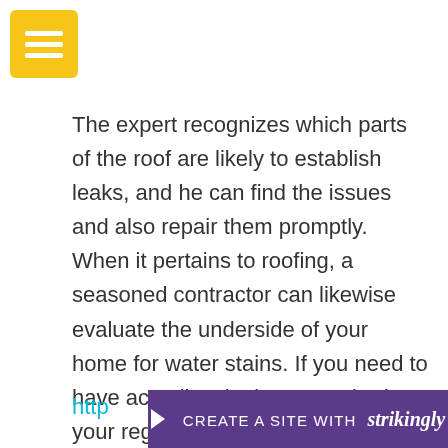[Figure (other): Yellow hamburger menu button icon in top-left corner]
The expert recognizes which parts of the roof are likely to establish leaks, and he can find the issues and also repair them promptly. When it pertains to roofing, a seasoned contractor can likewise evaluate the underside of your home for water stains. If you need to have actually a leakage repaired, your regional roof solution is the best option for you. They will have the ability to deal with any type of problems that you've found in your roof covering. For more info, check out this related link:
http
[Figure (other): Purple banner at bottom: arrow icon followed by CREATE A SITE WITH strikingly]